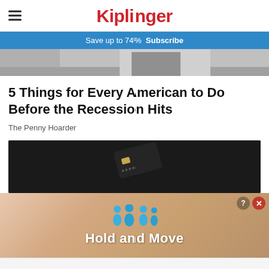Kiplinger
Save up to 74%  Subscribe
[Figure (photo): Top portion of a hero image, partially cropped, showing a gray background with a person or object]
5 Things for Every American to Do Before the Recession Hits
The Penny Hoarder
[Figure (photo): Dark background with a black credit card with gold chip, partially visible]
[Figure (photo): Advertisement overlay: 'Hold and Move' with blue figure icons on a wooden/peach background, with close button (X) in top right corner]